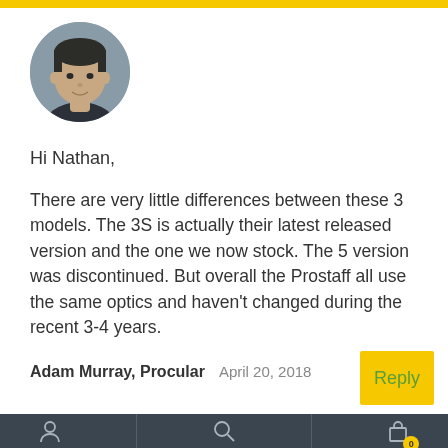[Figure (photo): Circular profile photo of a man (Adam Murray) from Procular]
Hi Nathan,
There are very little differences between these 3 models. The 3S is actually their latest released version and the one we now stock. The 5 version was discontinued. But overall the Prostaff all use the same optics and haven't changed during the recent 3-4 years.
Adam Murray, Procular   April 20, 2018
[Figure (screenshot): Bottom navigation bar with user icon, search icon, and cart icon with badge showing 0]